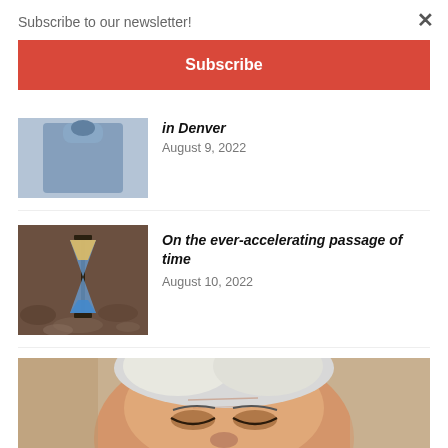Subscribe to our newsletter!
Subscribe
in Denver
August 9, 2022
[Figure (photo): Thumbnail of a blue-tinted shirt photo]
On the ever-accelerating passage of time
August 10, 2022
[Figure (photo): Hourglass standing in pebbles/rocks]
[Figure (photo): Close-up of elderly man's face, white hair, eyes closed]